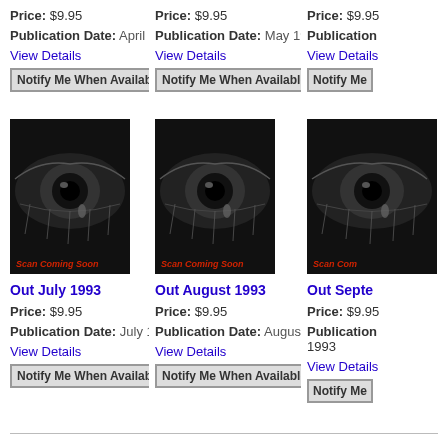Price: $9.95
Publication Date: April 1993
View Details
Notify Me When Available
Price: $9.95
Publication Date: May 1993
View Details
Notify Me When Available
Price: $9.95
Publication Date:
View Details
Notify Me
[Figure (photo): Close-up black and white photo of an eye with a tear, labeled Scan Coming Soon]
Out July 1993
Price: $9.95
Publication Date: July 1993
View Details
Notify Me When Available
[Figure (photo): Close-up black and white photo of an eye with a tear, labeled Scan Coming Soon]
Out August 1993
Price: $9.95
Publication Date: August 1993
View Details
Notify Me When Available
[Figure (photo): Close-up black and white photo of an eye with a tear, labeled Scan Coming Soon]
Out September
Price: $9.95
Publication Date: 1993
View Details
Notify Me